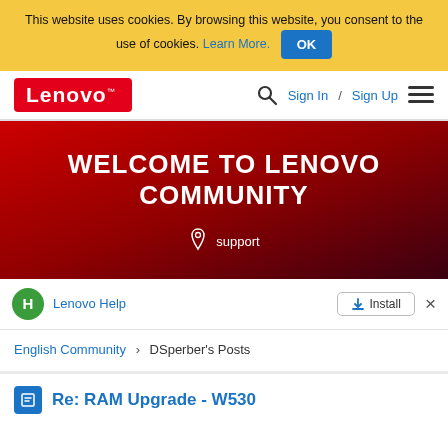This website uses cookies. By browsing this website, you consent to the use of cookies. Learn More. OK
[Figure (logo): Lenovo logo in red background with white text]
Sign In / Sign Up
[Figure (illustration): Lenovo Community hero banner with text WELCOME TO LENOVO COMMUNITY and support link]
Lenovo Help  Install  ×
English Community   DSperber's Posts
Re: RAM Upgrade - W530